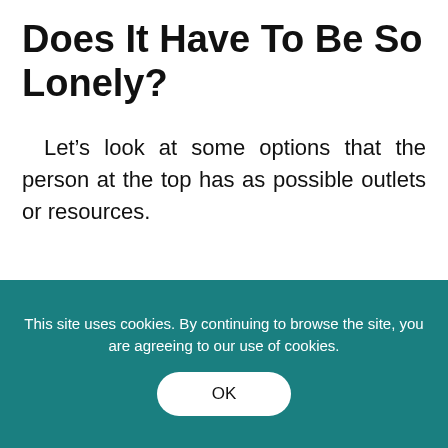Does It Have To Be So Lonely?
Let’s look at some options that the person at the top has as possible outlets or resources.
Spouse
Tony, of course, had Carmela and they spoke quite often about many important
This site uses cookies. By continuing to browse the site, you are agreeing to our use of cookies.
OK